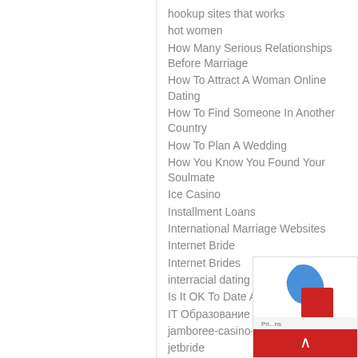hookup sites that works
hot women
How Many Serious Relationships Before Marriage
How To Attract A Woman Online Dating
How To Find Someone In Another Country
How To Plan A Wedding
How You Know You Found Your Soulmate
Ice Casino
Installment Loans
International Marriage Websites
Internet Bride
Internet Brides
interracial dating
Is It OK To Date A Foreigner
IT Образование
jamboree-casino-main
jetbride
Lataa dll-tiedostoja
Latin Brides For Marriage
latin women
latin women dating
latina wife